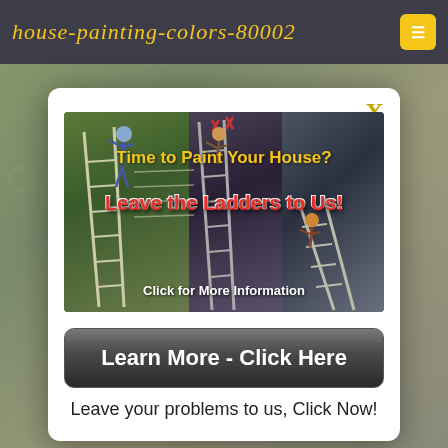house-painting-colors-80002
[Figure (infographic): House painting advertisement showing three panels of workers on ladders painting houses. Text overlay reads 'Time to Paint Your House?' in yellow and 'Leave the Ladders to Us!' in red, with 'Click for More Information' at the bottom.]
X
Learn More - Click Here
Leave your problems to us, Click Now!